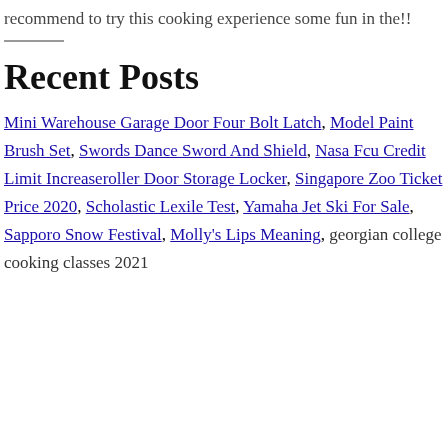recommend to try this cooking experience some fun in the!!
Recent Posts
Mini Warehouse Garage Door Four Bolt Latch, Model Paint Brush Set, Swords Dance Sword And Shield, Nasa Fcu Credit Limit Increaseroller Door Storage Locker, Singapore Zoo Ticket Price 2020, Scholastic Lexile Test, Yamaha Jet Ski For Sale, Sapporo Snow Festival, Molly's Lips Meaning, georgian college cooking classes 2021